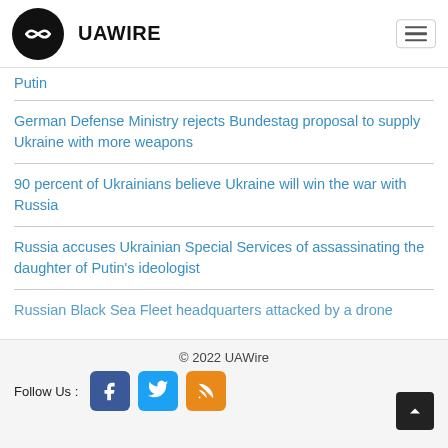UAWIRE
Putin
German Defense Ministry rejects Bundestag proposal to supply Ukraine with more weapons
90 percent of Ukrainians believe Ukraine will win the war with Russia
Russia accuses Ukrainian Special Services of assassinating the daughter of Putin's ideologist
Russian Black Sea Fleet headquarters attacked by a drone
© 2022 UAWire
Follow Us :